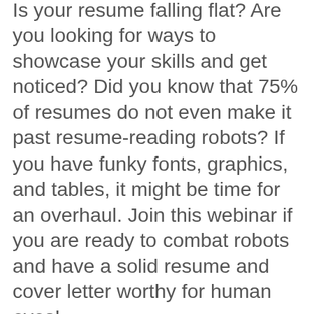Is your resume falling flat? Are you looking for ways to showcase your skills and get noticed? Did you know that 75% of resumes do not even make it past resume-reading robots? If you have funky fonts, graphics, and tables, it might be time for an overhaul. Join this webinar if you are ready to combat robots and have a solid resume and cover letter worthy for human eyes!
In this webinar, you will learn:
o Tailoring your cover letter and resume to meet your job search goals
o Navigating Applicant Tracking Systems (ATS)